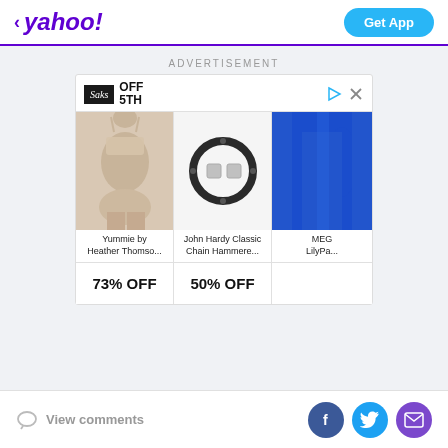< yahoo! | Get App
ADVERTISEMENT
[Figure (screenshot): Saks OFF 5TH advertisement showing three products: Yummie by Heather Thomso... (73% OFF), John Hardy Classic Chain Hammere... (50% OFF), and MEG... LilyPa... (partially visible)]
View comments | Facebook | Twitter | Email